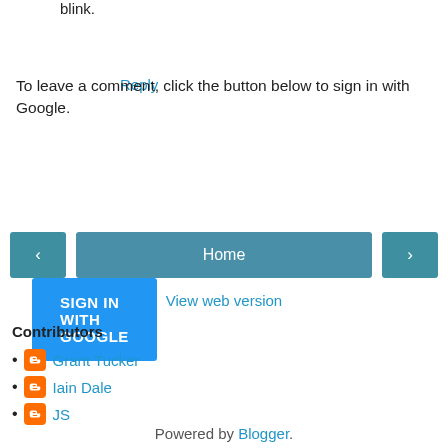blink.
Reply
To leave a comment, click the button below to sign in with Google.
[Figure (screenshot): Blue 'SIGN IN WITH GOOGLE' button]
[Figure (screenshot): Navigation bar with left arrow button, Home button, and right arrow button]
View web version
Contributors
Grant Tucker
Iain Dale
JS
Powered by Blogger.